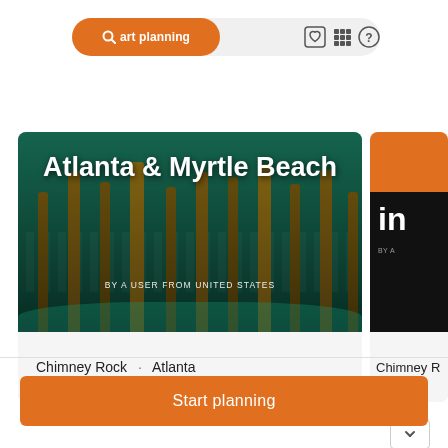[Figure (screenshot): Navigation bar with orange 'Start planning' search button and icons for saved items, grid view, and help]
[Figure (photo): Travel card showing pier/beach image with title 'Atlanta & Myrtle Beach' and subtitle 'BY A USER FROM UNITED STATES', footer text 'Chimney Rock · Atlanta']
[Figure (screenshot): Partial right card showing orange top, black middle with large 'in' text and 'BY A' text, footer with 'Chimney R...' text]
Start planning